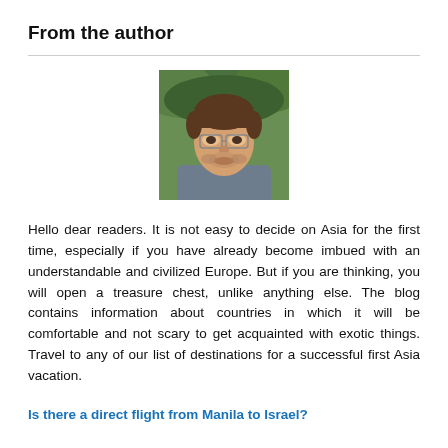From the author
[Figure (photo): Author's portrait photo: a young man with short brown hair and glasses, outdoors with green foliage in background, square crop]
Hello dear readers. It is not easy to decide on Asia for the first time, especially if you have already become imbued with an understandable and civilized Europe. But if you are thinking, you will open a treasure chest, unlike anything else. The blog contains information about countries in which it will be comfortable and not scary to get acquainted with exotic things. Travel to any of our list of destinations for a successful first Asia vacation.
Is there a direct flight from Manila to Israel?